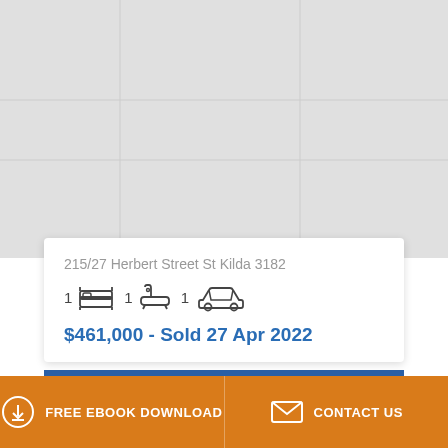[Figure (map): Grey map background area showing a street map, largely blank/light grey]
215/27 Herbert Street St Kilda 3182
[Figure (infographic): Property features: 1 bed icon, 1 bath icon, 1 car icon]
$461,000 - Sold 27 Apr 2022
FREE EBOOK DOWNLOAD
CONTACT US